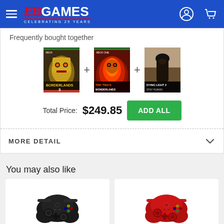EB Games - Celebrating 25 Years
Frequently bought together
[Figure (screenshot): Three Xbox game covers: Borderlands 3, Tiny Tina's Wonderlands, and Dying Light 2 Stay Human, separated by plus signs]
Total Price: $249.85 ADD ALL
MORE DETAIL
You may also like
[Figure (photo): Black Xbox wireless controller]
[Figure (photo): Red Xbox wireless controller]